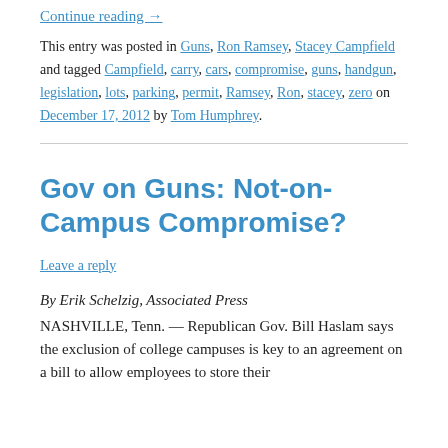Continue reading →
This entry was posted in Guns, Ron Ramsey, Stacey Campfield and tagged Campfield, carry, cars, compromise, guns, handgun, legislation, lots, parking, permit, Ramsey, Ron, stacey, zero on December 17, 2012 by Tom Humphrey.
Gov on Guns: Not-on-Campus Compromise?
Leave a reply
By Erik Schelzig, Associated Press
NASHVILLE, Tenn. — Republican Gov. Bill Haslam says the exclusion of college campuses is key to an agreement on a bill to allow employees to store their